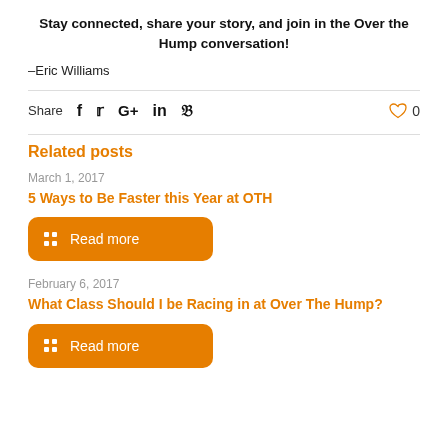Stay connected, share your story, and join in the Over the Hump conversation!
–Eric Williams
Share  f  t  G+  in  P  ♡ 0
Related posts
March 1, 2017
5 Ways to Be Faster this Year at OTH
Read more
February 6, 2017
What Class Should I be Racing in at Over The Hump?
Read more